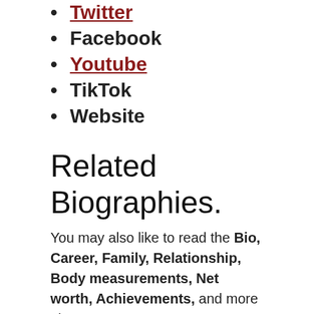Twitter
Facebook
Youtube
TikTok
Website
Related Biographies.
You may also like to read the Bio, Career, Family, Relationship, Body measurements, Net worth, Achievements, and more about: